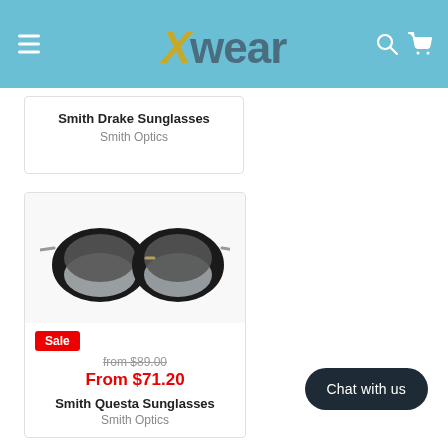[Figure (logo): Xwear brand logo on a light blue header background with hamburger menu icon, search icon, and cart icon]
Smith Drake Sunglasses
Smith Optics
[Figure (photo): Smith Questa Sunglasses — black round-frame sunglasses with clear lower frame and grey lenses]
Sale
from $89.00
From $71.20
Smith Questa Sunglasses
Smith Optics
Chat with us